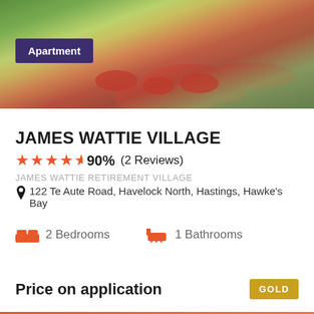[Figure (photo): Exterior garden photo of retirement village with red flowering plants and green foliage, with an 'Apartment' badge overlay]
JAMES WATTIE VILLAGE
★★★★½ 90% (2 Reviews)
JAMES WATTIE RETIREMENT VILLAGE
📍 122 Te Aute Road, Havelock North, Hastings, Hawke's Bay
2 Bedrooms
1 Bathrooms
Price on application
GOLD